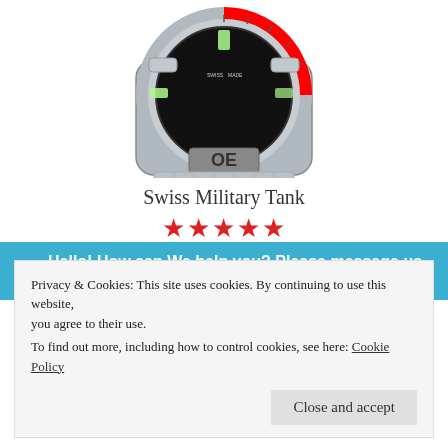[Figure (photo): Close-up top portion of a Swiss Military Tank watch with black dial, red and silver bezel, and stainless steel case showing 'OE' branding on the crown guard]
Swiss Military Tank
★★★★★ (5 stars)
SALE!
€480.00  €168.00
Hello! How can We help you? Please message us if you
Privacy & Cookies: This site uses cookies. By continuing to use this website, you agree to their use.
To find out more, including how to control cookies, see here: Cookie Policy
Close and accept